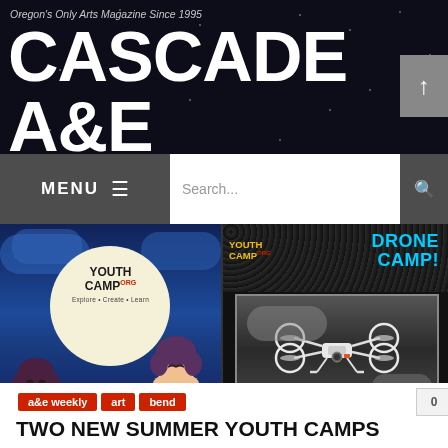Oregon's Only Arts Magazine Since 1995
CASCADE A&E
[Figure (screenshot): Navigation bar with MENU button and hamburger icon on left, Search bar in center, magnifying glass icon button on right]
[Figure (photo): Left: Anime-style illustration with two characters under a large moon, Youth Camp logo with text 'Explore • Create • Learn'. Right: Drone Camp advertisement with Youth Camp logo, DRONE CAMP! text in blue, photo of a quadcopter drone, UNMANNED AERIAL SYSTEMS text below.]
a&e weekly | art | bend
TWO NEW SUMMER YOUTH CAMPS